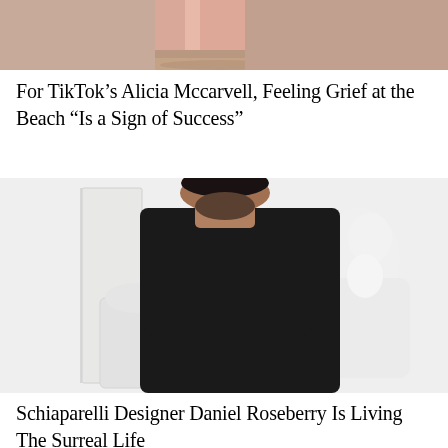[Figure (photo): Partial photo of a person at a beach, pink/sandy tones, cropped — only the lower body portion visible]
For TikTok's Alicia Mccarvell, Feeling Grief at the Beach “Is a Sign of Success”
[Figure (photo): Portrait of a bearded man with dark hair, wearing a black turtleneck sweater with arms crossed, posing in front of white ornate sculptural decor]
Schiaparelli Designer Daniel Roseberry Is Living The Surreal Life